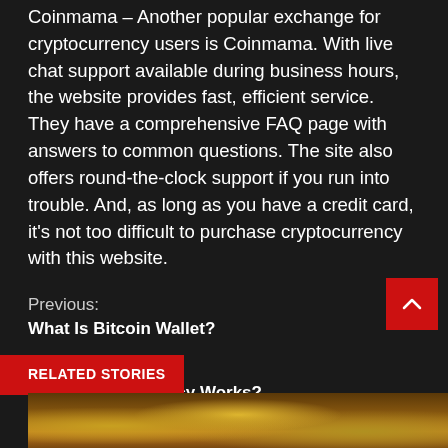Coinmama – Another popular exchange for cryptocurrency users is Coinmama. With live chat support available during business hours, the website provides fast, efficient service. They have a comprehensive FAQ page with answers to common questions. The site also offers round-the-clock support if you run into trouble. And, as long as you have a credit card, it's not too difficult to purchase cryptocurrency with this website.
Previous:
What Is Bitcoin Wallet?
Next:
How Cryptocurrency Works?
RELATED STORIES
[Figure (photo): Bottom image strip showing gold/cryptocurrency coins, partially visible]